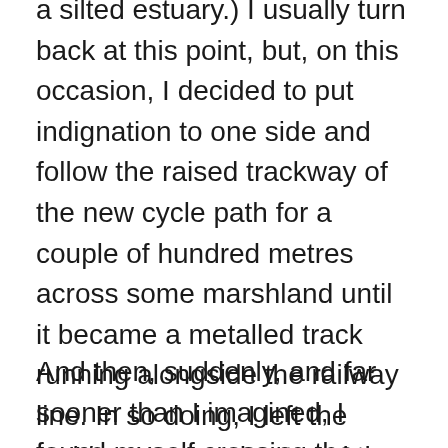a silted estuary.) I usually turn back at this point, but, on this occasion, I decided to put indignation to one side and follow the raised trackway of the new cycle path for a couple of hundred metres across some marshland until it became a metalled track running alongside the railway line. In so doing, I left the wyldrenesse and entered the industrial edgelands. It was a different kind of place. Different, but I was glad I'd come.
And then, suddenly, and far sooner than I imagined, I found myself crossing the border into North Wales. Quite unplanned, I had done